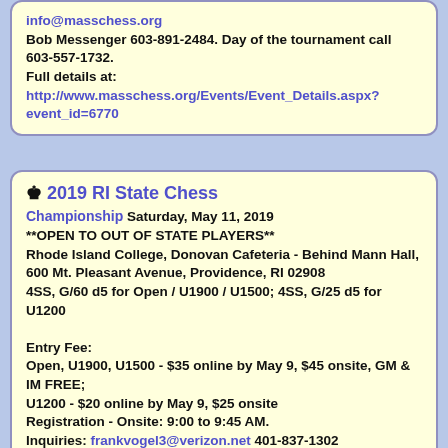info@masschess.org
Bob Messenger 603-891-2484. Day of the tournament call 603-557-1732.
Full details at:
http://www.masschess.org/Events/Event_Details.aspx?event_id=6770
♚ 2019 RI State Chess Championship Saturday, May 11, 2019
**OPEN TO OUT OF STATE PLAYERS**
Rhode Island College, Donovan Cafeteria - Behind Mann Hall, 600 Mt. Pleasant Avenue, Providence, RI 02908
4SS, G/60 d5 for Open / U1900 / U1500; 4SS, G/25 d5 for U1200

Entry Fee:
Open, U1900, U1500 - $35 online by May 9, $45 onsite, GM & IM FREE;
U1200 - $20 online by May 9, $25 onsite
Registration - Onsite: 9:00 to 9:45 AM.
Inquiries: frankvogel3@verizon.net 401-837-1302
Full details at: senecachess.org/event/2019-ri-state-championship/